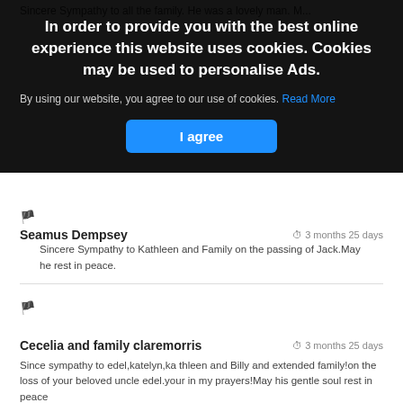Sincere Sympathy to all the family. He was a lovely man. M...
[Figure (screenshot): Cookie consent overlay with title 'In order to provide you with the best online experience this website uses cookies. Cookies may be used to personalise Ads.' and body text 'By using our website, you agree to our use of cookies. Read More' and a blue 'I agree' button.]
Seamus Dempsey   3 months 25 days
Sincere Sympathy to Kathleen and Family on the passing of Jack.May he rest in peace.
Cecelia and family claremorris   3 months 25 days
Since sympathy to edel,katelyn,ka thleen and Billy and extended family!on the loss of your beloved uncle edel.your in my prayers!May his gentle soul rest in peace